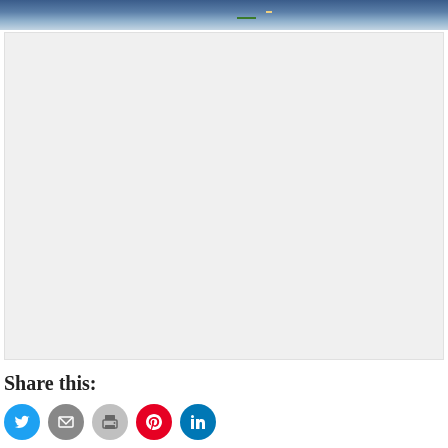[Figure (photo): Partial photo visible at top of page showing hands and outdoor scene]
[Figure (other): Embedded media or advertisement placeholder (light gray box)]
Share this:
[Figure (infographic): Social sharing icons: Twitter (blue), Email (gray), Print (light gray), Pinterest (red), LinkedIn (blue)]